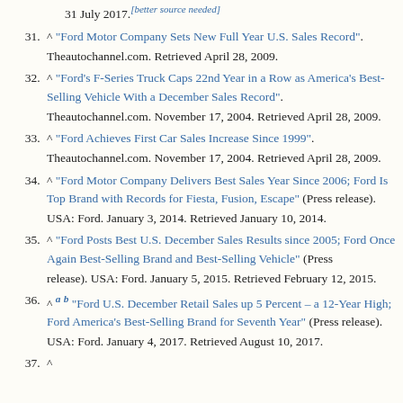31 July 2017.[better source needed]
31. ^ "Ford Motor Company Sets New Full Year U.S. Sales Record". Theautochannel.com. Retrieved April 28, 2009.
32. ^ "Ford's F-Series Truck Caps 22nd Year in a Row as America's Best-Selling Vehicle With a December Sales Record". Theautochannel.com. November 17, 2004. Retrieved April 28, 2009.
33. ^ "Ford Achieves First Car Sales Increase Since 1999". Theautochannel.com. November 17, 2004. Retrieved April 28, 2009.
34. ^ "Ford Motor Company Delivers Best Sales Year Since 2006; Ford Is Top Brand with Records for Fiesta, Fusion, Escape" (Press release). USA: Ford. January 3, 2014. Retrieved January 10, 2014.
35. ^ "Ford Posts Best U.S. December Sales Results since 2005; Ford Once Again Best-Selling Brand and Best-Selling Vehicle" (Press release). USA: Ford. January 5, 2015. Retrieved February 12, 2015.
36. ^ a b "Ford U.S. December Retail Sales up 5 Percent – a 12-Year High; Ford America's Best-Selling Brand for Seventh Year" (Press release). USA: Ford. January 4, 2017. Retrieved August 10, 2017.